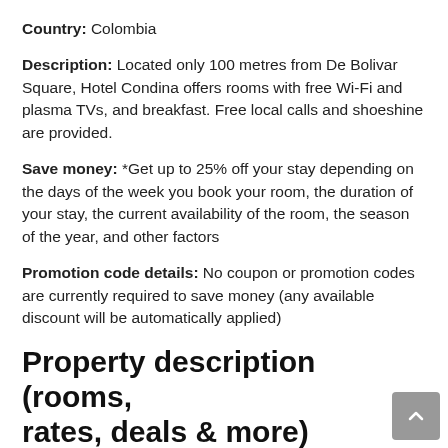Country: Colombia
Description: Located only 100 metres from De Bolivar Square, Hotel Condina offers rooms with free Wi-Fi and plasma TVs, and breakfast. Free local calls and shoeshine are provided.
Save money: *Get up to 25% off your stay depending on the days of the week you book your room, the duration of your stay, the current availability of the room, the season of the year, and other factors
Promotion code details: No coupon or promotion codes are currently required to save money (any available discount will be automatically applied)
Property description (rooms, rates, deals & more)
Located only 350 feet from De Bolivar Square, Hotel Condina offers rooms with free Wi-Fi and plasma TVs,